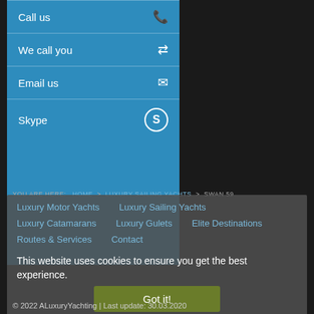Call us
We call you
Email us
Skype
YOU ARE HERE:   HOME > LUXURY SAILING YACHTS > SWAN 59
Luxury Motor Yachts   Luxury Sailing Yachts   Luxury Catamarans   Luxury Gulets   Elite Destinations   Routes & Services   Contact
This website uses cookies to ensure you get the best experience. Got it!
Sitemap | A Luxury Yachting offices | Advisory Center | Google+
© 2022 ALuxuryYachting | Last update: 30.03.2020